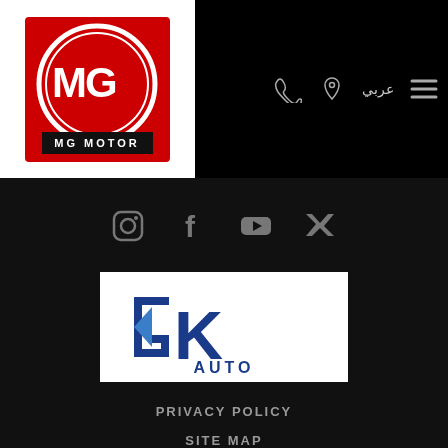[Figure (logo): MG Motor logo — red rectangle with white MG octagon badge and MG MOTOR text below]
[Figure (other): Navigation bar with phone icon, location pin icon, Arabic text عربي, and hamburger menu icon on black background]
[Figure (other): Social media icons row: Instagram, Facebook, YouTube, Twitter on dark background]
[Figure (logo): GK AUTO logo — blue stylized GK letters with AUTO text below on white background]
PRIVACY POLICY
SITE MAP